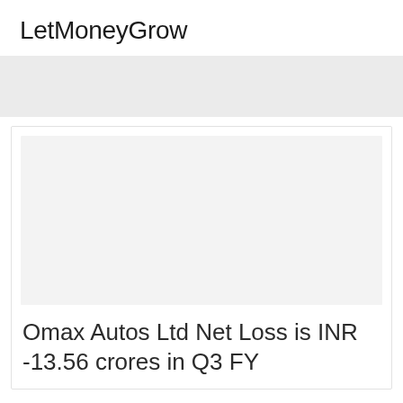LetMoneyGrow
[Figure (other): Gray banner/advertisement placeholder area]
[Figure (photo): Article image placeholder (light gray rectangle)]
Omax Autos Ltd Net Loss is INR -13.56 crores in Q3 FY